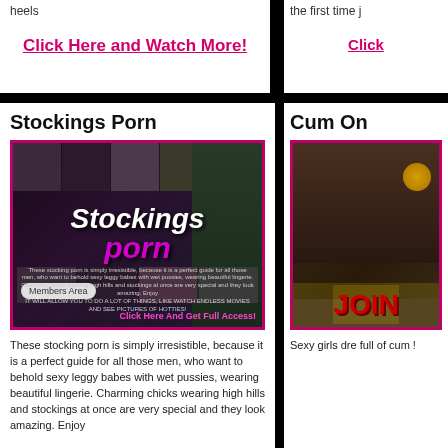heels
Click Here and Watch More!
the first time j
Click
Stockings Porn
[Figure (photo): Stockings Porn website banner with models in stockings, site logo text 'Stockings porn', Members Area button, and 'Click Here And Get Full Access!' CTA]
These stocking porn is simply irresistible, because it is a perfect guide for all those men, who want to behold sexy leggy babes with wet pussies, wearing beautiful lingerie. Charming chicks wearing high hills and stockings at once are very special and they look amazing. Enjoy
Cum On
[Figure (photo): Cum On website banner showing woman with JOIN text button]
Sexy girls dre full of cum !